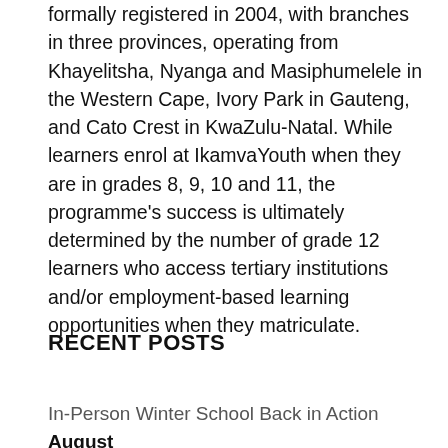formally registered in 2004, with branches in three provinces, operating from Khayelitsha, Nyanga and Masiphumelele in the Western Cape, Ivory Park in Gauteng, and Cato Crest in KwaZulu-Natal. While learners enrol at IkamvaYouth when they are in grades 8, 9, 10 and 11, the programme's success is ultimately determined by the number of grade 12 learners who access tertiary institutions and/or employment-based learning opportunities when they matriculate.
RECENT POSTS
In-Person Winter School Back in Action August